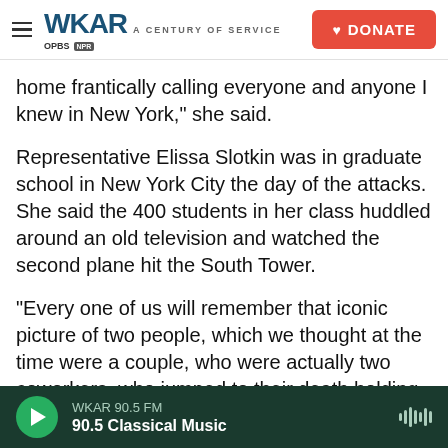WKAR A CENTURY OF SERVICE | DONATE
home frantically calling everyone and anyone I knew in New York," she said.
Representative Elissa Slotkin was in graduate school in New York City the day of the attacks. She said the 400 students in her class huddled around an old television and watched the second plane hit the South Tower.
“Every one of us will remember that iconic picture of two people, which we thought at the time were a couple, who were actually two coworkers, who jumped to their death holding hands rather than be
WKAR 90.5 FM | 90.5 Classical Music